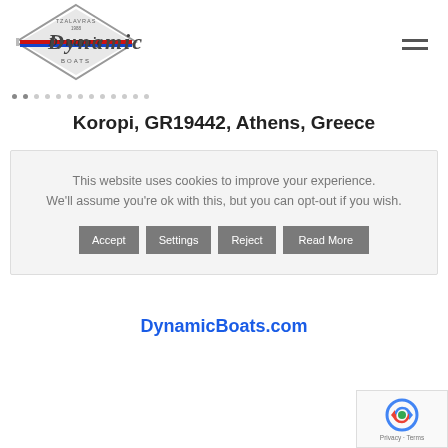Dynamic Boats logo and navigation
[Figure (logo): Dynamic Boats logo — diamond shape with 'TZALAVRAS 1988' text and 'DYNAMIC' stylized script and 'BOATS' text, with red and blue stripes]
Koropi, GR19442, Athens, Greece
This website uses cookies to improve your experience. We'll assume you're ok with this, but you can opt-out if you wish.
Accept  Settings  Reject  Read More
DynamicBoats.com
[Figure (logo): Google reCAPTCHA badge with Privacy and Terms links]